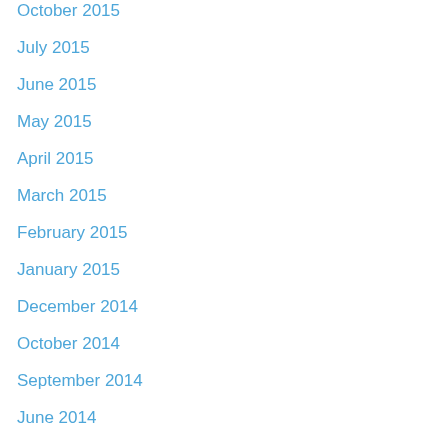October 2015
July 2015
June 2015
May 2015
April 2015
March 2015
February 2015
January 2015
December 2014
October 2014
September 2014
June 2014
May 2014
April 2014
February 2014
January 2014
December 2013
November 2013
June 2013
May 2013